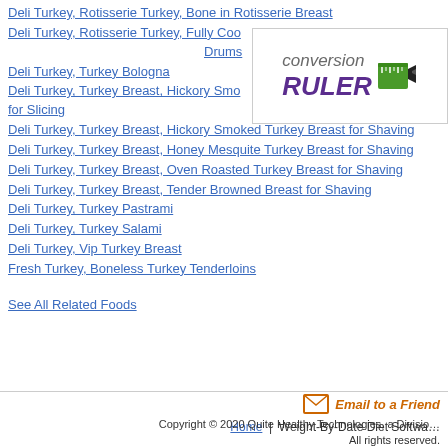Deli Turkey, Rotisserie Turkey, Bone in Rotisserie Breast
Deli Turkey, Rotisserie Turkey, Fully Cooked Rotisserie Drums
[Figure (logo): Conversion Ruler logo with purple RULER text and green ruler icon]
Deli Turkey, Turkey Bologna
Deli Turkey, Turkey Breast, Hickory Smoked Turkey Breast for Slicing
Deli Turkey, Turkey Breast, Hickory Smoked Turkey Breast for Shaving
Deli Turkey, Turkey Breast, Honey Mesquite Turkey Breast for Shaving
Deli Turkey, Turkey Breast, Oven Roasted Turkey Breast for Shaving
Deli Turkey, Turkey Breast, Tender Browned Breast for Shaving
Deli Turkey, Turkey Pastrami
Deli Turkey, Turkey Salami
Deli Turkey, Vip Turkey Breast
Fresh Turkey, Boneless Turkey Tenderloins
See All Related Foods
Email to a Friend
Home | Weight-By-Date Diet Software
Copyright © 2020 Quite Healthy Technologies, a Division ... All rights reserved.